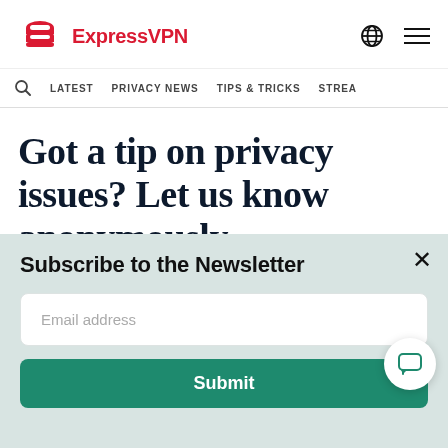[Figure (logo): ExpressVPN logo with red shield/arrow icon and red text ExpressVPN]
ExpressVPN
LATEST   PRIVACY NEWS   TIPS & TRICKS   STREA
Got a tip on privacy issues? Let us know anonymously
Subscribe to the Newsletter
Email address
Submit